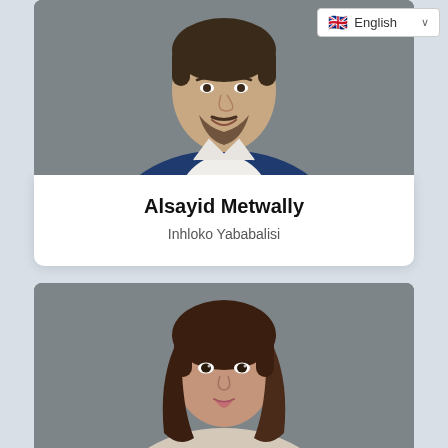[Figure (photo): Profile photo of a man in a blue suit with white shirt against gray background, cropped at torso]
Alsayid Metwally
Inhloko Yababalisi
[Figure (photo): Profile photo of a woman with long brown hair against gray background, cropped at shoulders]